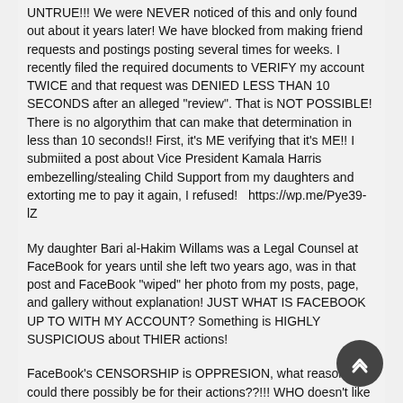UNTRUE!!! We were NEVER noticed of this and only found out about it years later! We have blocked from making friend requests and postings posting several times for weeks. I recently filed the required documents to VERIFY my account TWICE and that request was DENIED LESS THAN 10 SECONDS after an alleged "review". That is NOT POSSIBLE! There is no algorythim that can make that determination in less than 10 seconds!! First, it's ME verifying that it's ME!! I submiited a post about Vice President Kamala Harris embezelling/stealing Child Support from my daughters and extorting me to pay it again, I refused!   https://wp.me/Pye39-lZ
My daughter Bari al-Hakim Willams was a Legal Counsel at FaceBook for years until she left two years ago, was in that post and FaceBook "wiped" her photo from my posts, page, and gallery without explanation! JUST WHAT IS FACEBOOK UP TO WITH MY ACCOUNT? Something is HIGHLY SUSPICIOUS about THIER actions!
FaceBook's CENSORSHIP is OPPRESION, what reason could there possibly be for their actions??!!! WHO doesn't like what's being said?!!
They have "scrubbed" the internet of any references and shut down al-Hakim's social media presence to silence his voice exposing the criminal activity of Kamala Harris, along with